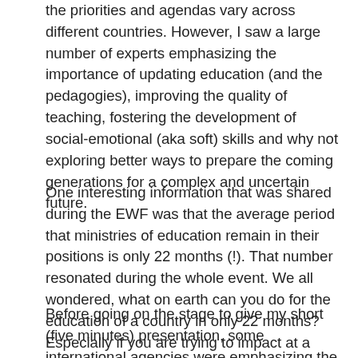the priorities and agendas vary across different countries. However, I saw a large number of experts emphasizing the importance of updating education (and the pedagogies), improving the quality of teaching, fostering the development of social-emotional (aka soft) skills and why not exploring better ways to prepare the coming generations for a complex and uncertain future.
One interesting information that was shared during the EWF was that the average period that ministries of education remain in their positions is only 22 months (!). That number resonated during the whole event. We all wondered, what on earth can you do for the education of a country in only 22 months? Especially if you are trying to impact at a large scale.
Before going on the stage to give my short (five minutes) presentation, some international agencies were emphasizing the actions needed for improving the quality of education. Both, the OECD (2015) and the World Bank (see 2018 report)